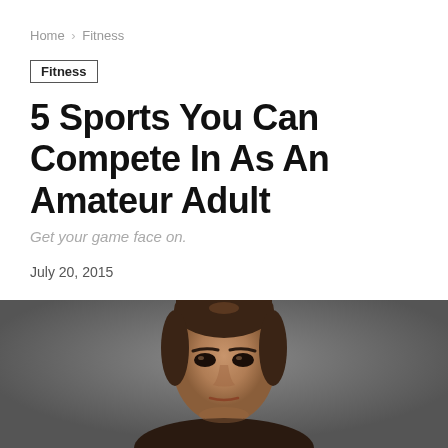Home > Fitness
Fitness
5 Sports You Can Compete In As An Amateur Adult
Get your game face on.
July 20, 2015
[Figure (photo): Close-up of a focused young woman with hair pulled back, against a grey background, in a competitive athletic pose]